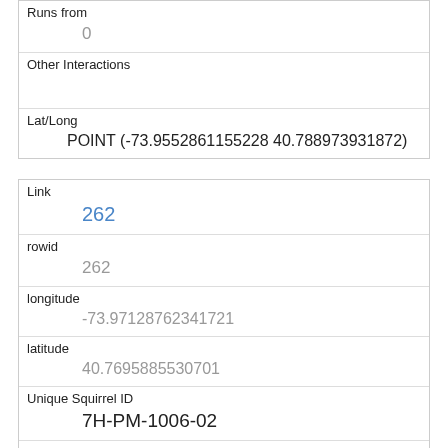| Runs from | 0 |
| Other Interactions |  |
| Lat/Long | POINT (-73.9552861155228 40.788973931872) |
| Link | 262 |
| rowid | 262 |
| longitude | -73.97128762341721 |
| latitude | 40.7695885530701 |
| Unique Squirrel ID | 7H-PM-1006-02 |
| Hectare | 07H |
| Shift | PM |